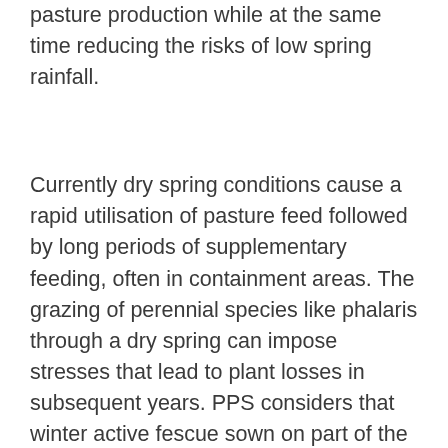pasture production while at the same time reducing the risks of low spring rainfall.
Currently dry spring conditions cause a rapid utilisation of pasture feed followed by long periods of supplementary feeding, often in containment areas. The grazing of perennial species like phalaris through a dry spring can impose stresses that lead to plant losses in subsequent years. PPS considers that winter active fescue sown on part of the farm could increase overall dry matter production and also allow spelling of phalaris and other species to aid the build up of plant reserves before grazing later in